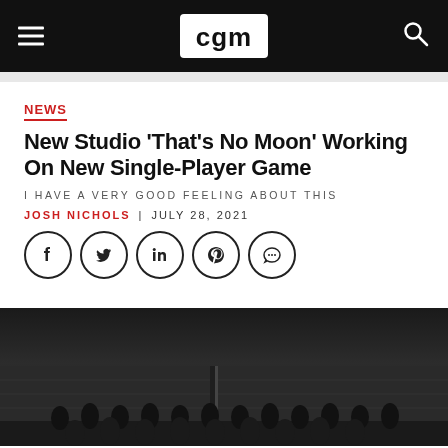CGM
NEWS
New Studio ‘That’s No Moon’ Working On New Single-Player Game
I HAVE A VERY GOOD FEELING ABOUT THIS
JOSH NICHOLS | JULY 28, 2021
[Figure (photo): Group photo of the That's No Moon studio team, dark background, people standing in rows]
[Figure (other): Social sharing buttons: Facebook, Twitter, LinkedIn, Pinterest, Comment]